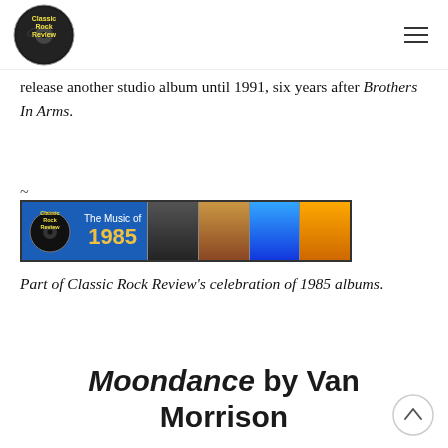Classic Rock Review
release another studio album until 1991, six years after Brothers In Arms.
~
[Figure (illustration): Classic Rock Review banner for The Music of 1985, featuring logo and album cover images]
Part of Classic Rock Review's celebration of 1985 albums.
Moondance by Van Morrison